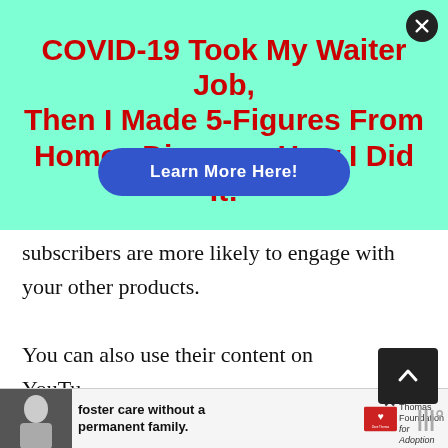[Figure (infographic): Teal/mint green advertisement banner with bold red headline text: 'COVID-19 Took My Waiter Job, Then I Made 5-Figures From Home...Discover How I Did It!' with a blue oval 'Learn More Here!' button overlaid in the center, and a black circular close (X) button in the top-right corner.]
subscribers are more likely to engage with your other products.
You can also use their content on YouTube, podcasts, membership websites, email newsletters, and social media platforms in
[Figure (infographic): Bottom advertisement banner showing a black-and-white photo of a woman on the left, text 'foster care without a permanent family.' in the center, and the Dave Thomas Foundation for Adoption logo on the right, with a close X button and the Stitcher logo.]